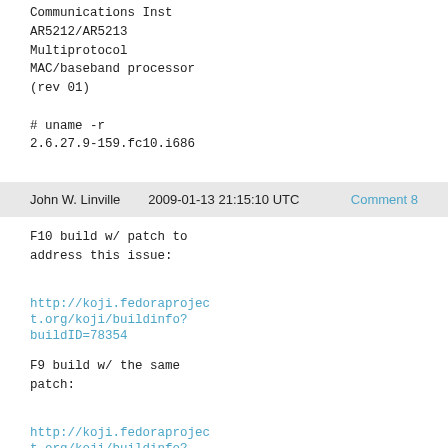Communications Inst AR5212/AR5213 Multiprotocol MAC/baseband processor (rev 01)

# uname -r
2.6.27.9-159.fc10.i686
John W. Linville    2009-01-13 21:15:10 UTC    Comment 8
F10 build w/ patch to address this issue:

http://koji.fedoraproject.org/koji/buildinfo?buildID=78354

F9 build w/ the same patch:

http://koji.fedoraproject.org/koji/buildinfo?buildID=78385